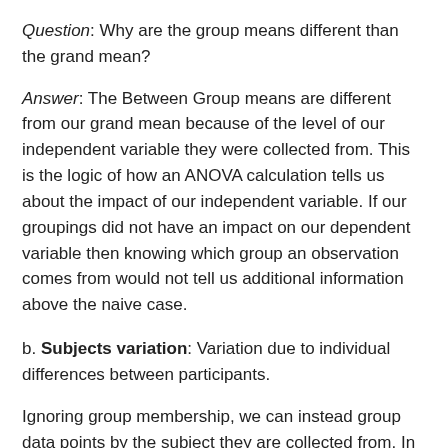Question: Why are the group means different than the grand mean?
Answer: The Between Group means are different from our grand mean because of the level of our independent variable they were collected from. This is the logic of how an ANOVA calculation tells us about the impact of our independent variable. If our groupings did not have an impact on our dependent variable then knowing which group an observation comes from would not tell us additional information above the naive case.
b. Subjects variation: Variation due to individual differences between participants.
Ignoring group membership, we can instead group data points by the subject they are collected from. In this view of our dataset, each participant would have their own